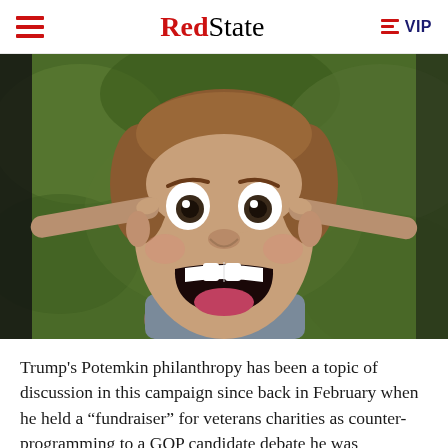RedState | VIP
[Figure (photo): A young boy making a surprised/shocked face with wide eyes and open mouth, fingers pointing toward his ears, photographed close-up against a blurred green outdoor background.]
Trump's Potemkin philanthropy has been a topic of discussion in this campaign since back in February when he held a “fundraiser” for veterans charities as counter-programming to a GOP candidate debate he was boycotting. It seemed that he attempted to keep the money for his own foundation until Washington Post reporter David Fahrenthold started digging into the story and shamed Trump into releasing the money and